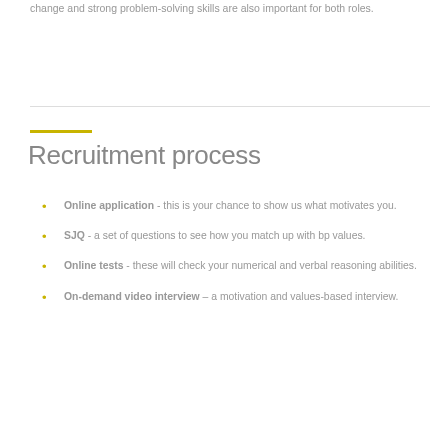change and strong problem-solving skills are also important for both roles.
Recruitment process
Online application - this is your chance to show us what motivates you.
SJQ - a set of questions to see how you match up with bp values.
Online tests - these will check your numerical and verbal reasoning abilities.
On-demand video interview – a motivation and values-based interview.